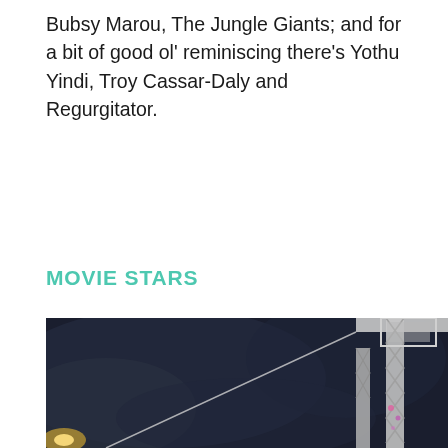Bubsy Marou, The Jungle Giants; and for a bit of good ol' reminiscing there's Yothu Yindi, Troy Cassar-Daly and Regurgitator.
MOVIE STARS
[Figure (photo): Night-time photo of a stage truss structure against a dark cloudy sky, with lights visible at the bottom left and cables stretching from the metal scaffolding.]